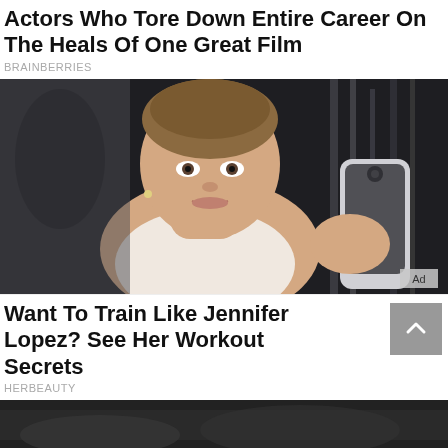Actors Who Tore Down Entire Career On The Heals Of One Great Film
BRAINBERRIES
[Figure (photo): Woman in gym taking mirror selfie with phone, wearing white athletic top, hair pulled back, gym equipment visible in background]
Want To Train Like Jennifer Lopez? See Her Workout Secrets
HERBEAUTY
[Figure (photo): Partial image at bottom of page, dark background]